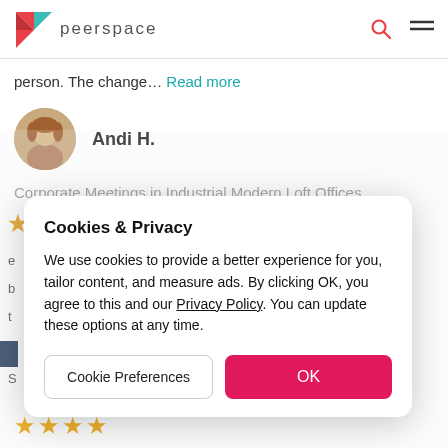peerspace
person. The change… Read more
Andi H.
Corporate Meetings in Industrial Modern Loft Offices
[Figure (screenshot): Cookies & Privacy dialog box overlaid on a Peerspace review page. Dialog contains text: 'We use cookies to provide a better experience for you, tailor content, and measure ads. By clicking OK, you agree to this and our Privacy Policy. You can update these options at any time.' with two buttons: 'Cookie Preferences' and 'OK'.]
★★★★